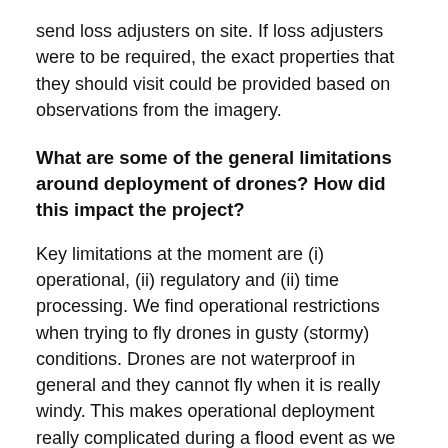send loss adjusters on site. If loss adjusters were to be required, the exact properties that they should visit could be provided based on observations from the imagery.
What are some of the general limitations around deployment of drones? How did this impact the project?
Key limitations at the moment are (i) operational, (ii) regulatory and (ii) time processing. We find operational restrictions when trying to fly drones in gusty (stormy) conditions. Drones are not waterproof in general and they cannot fly when it is really windy. This makes operational deployment really complicated during a flood event as we need to find a suitable weather window to start our work. There are also regulatory constraints established by the Civil Aviation Authority. Finally, we are trying to